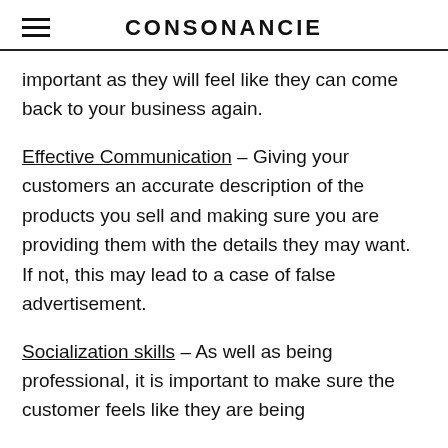CONSONANCIE
important as they will feel like they can come back to your business again.
Effective Communication – Giving your customers an accurate description of the products you sell and making sure you are providing them with the details they may want. If not, this may lead to a case of false advertisement.
Socialization skills – As well as being professional, it is important to make sure the customer feels like they are being